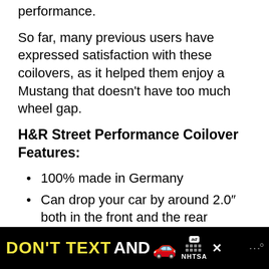performance.
So far, many previous users have expressed satisfaction with these coilovers, as it helped them enjoy a Mustang that doesn't have too much wheel gap.
H&R Street Performance Coilover Features:
100% made in Germany
Can drop your car by around 2.0″ both in the front and the rear
Works with Mustangs with Brembo Brakes (2018+) without Magneride
Custom valved with precision
[Figure (infographic): Advertisement banner: DON'T TEXT AND [car emoji] ad badge NHTSA logo, close button, Wear OS logo]